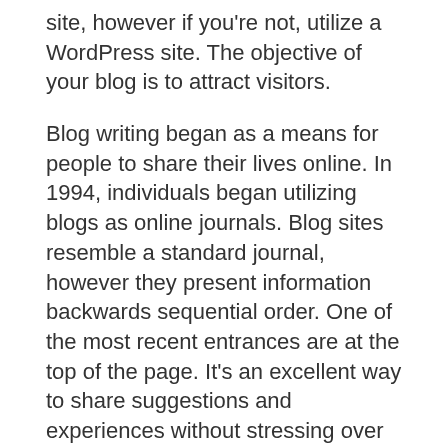site, however if you're not, utilize a WordPress site. The objective of your blog is to attract visitors.
Blog writing began as a means for people to share their lives online. In 1994, individuals began utilizing blogs as online journals. Blog sites resemble a standard journal, however they present information backwards sequential order. One of the most recent entrances are at the top of the page. It's an excellent way to share suggestions and experiences without stressing over the content being checked out by unfamiliar people. If you wish to share your concepts, you can upload them on a public blog site.
The design of a blog site has altered a whole lot throughout the years. Today, bloggers can integrate various widgets as well as plugins into their platform. They also can...